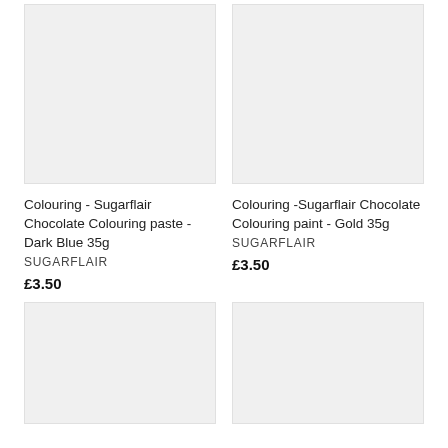[Figure (photo): Product image placeholder - light grey rectangle for Sugarflair Chocolate Colouring paste Dark Blue 35g]
Colouring - Sugarflair Chocolate Colouring paste - Dark Blue 35g
SUGARFLAIR
£3.50
[Figure (photo): Product image placeholder - light grey rectangle for Sugarflair Chocolate Colouring paint Gold 35g]
Colouring -Sugarflair Chocolate Colouring paint - Gold 35g
SUGARFLAIR
£3.50
[Figure (photo): Product image placeholder - light grey rectangle, bottom left]
[Figure (photo): Product image placeholder - light grey rectangle, bottom right]